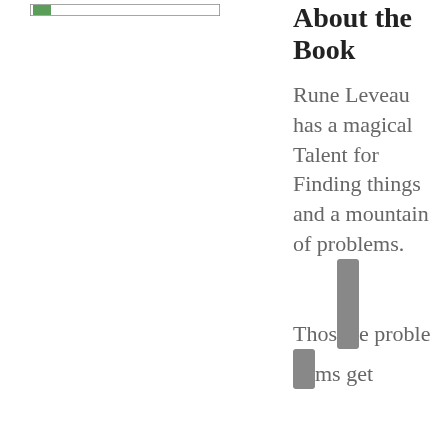[Figure (other): Small thumbnail image or icon at top left with a green icon and border]
About the Book
Rune Leveau has a magical Talent for Finding things and a mountain of problems. Those problems get